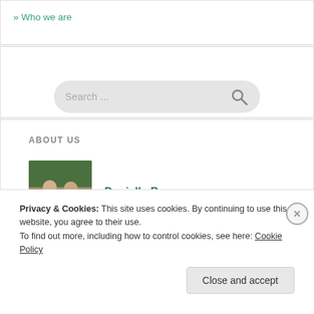» Who we are
[Figure (screenshot): Search bar with placeholder text 'Search ...' and a magnifying glass icon on the right, styled with a light gray rounded rectangle background.]
ABOUT US
[Figure (photo): Photo of two people holding a frame, outdoors with greenery in background.]
Danielle Brousseau
Privacy & Cookies: This site uses cookies. By continuing to use this website, you agree to their use.
To find out more, including how to control cookies, see here: Cookie Policy
Close and accept